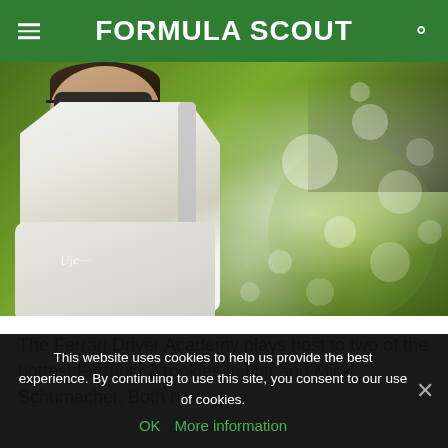FORMULA SCOUT
[Figure (photo): A young male racing driver wearing sunglasses and a white Alfa Romeo jacket, photographed outdoors with green bokeh background]
The Ferrari Driver Academy plays host to two of the hottest Formula 2 rookies in Ilott and Mick Schumacher. Both have
This website uses cookies to help us provide the best experience. By continuing to use this site, you consent to our use of cookies. OK  More information